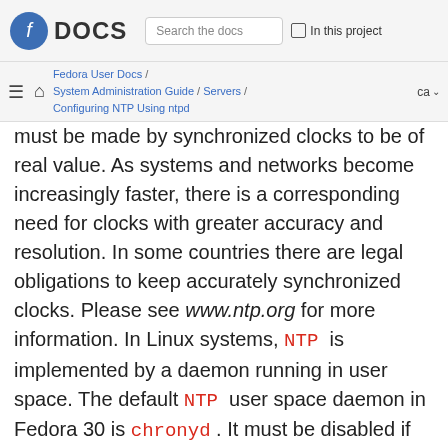Fedora DOCS  Search the docs  In this project
Fedora User Docs / System Administration Guide / Servers / Configuring NTP Using ntpd  ca
must be made by synchronized clocks to be of real value. As systems and networks become increasingly faster, there is a corresponding need for clocks with greater accuracy and resolution. In some countries there are legal obligations to keep accurately synchronized clocks. Please see www.ntp.org for more information. In Linux systems, NTP is implemented by a daemon running in user space. The default NTP user space daemon in Fedora 30 is chronyd . It must be disabled if you want to use the ntpd daemon. See Configuring NTP Using the chrony Suite for information on chrony